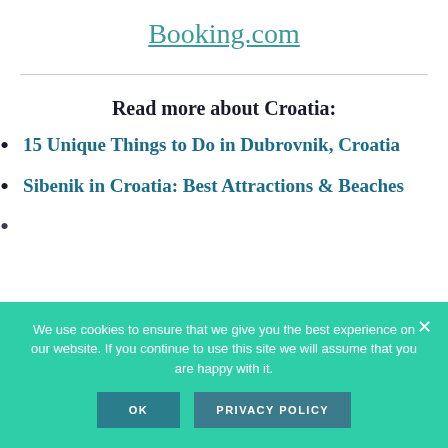Booking.com
Read more about Croatia:
15 Unique Things to Do in Dubrovnik, Croatia
Sibenik in Croatia: Best Attractions & Beaches
We use cookies to ensure that we give you the best experience on our website. If you continue to use this site we will assume that you are happy with it.